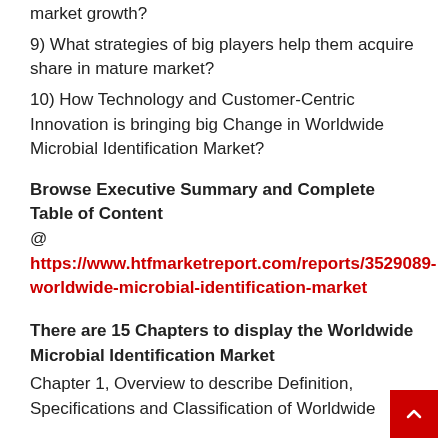market growth?
9) What strategies of big players help them acquire share in mature market?
10) How Technology and Customer-Centric Innovation is bringing big Change in Worldwide Microbial Identification Market?
Browse Executive Summary and Complete Table of Content @ https://www.htfmarketreport.com/reports/3529089-worldwide-microbial-identification-market
There are 15 Chapters to display the Worldwide Microbial Identification Market
Chapter 1, Overview to describe Definition, Specifications and Classification of Worldwide